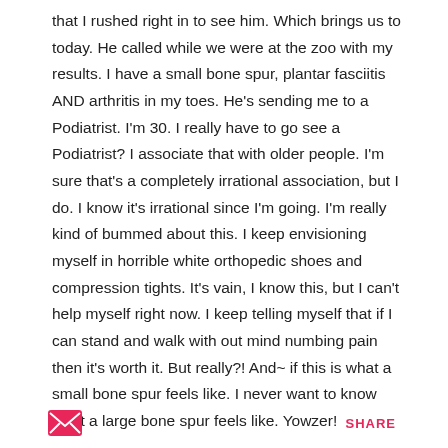that I rushed right in to see him. Which brings us to today. He called while we were at the zoo with my results. I have a small bone spur, plantar fasciitis AND arthritis in my toes. He's sending me to a Podiatrist. I'm 30. I really have to go see a Podiatrist? I associate that with older people. I'm sure that's a completely irrational association, but I do. I know it's irrational since I'm going. I'm really kind of bummed about this. I keep envisioning myself in horrible white orthopedic shoes and compression tights. It's vain, I know this, but I can't help myself right now. I keep telling myself that if I can stand and walk with out mind numbing pain then it's worth it. But really?! And~ if this is what a small bone spur feels like. I never want to know what a large bone spur feels like. Yowzer!
SHARE